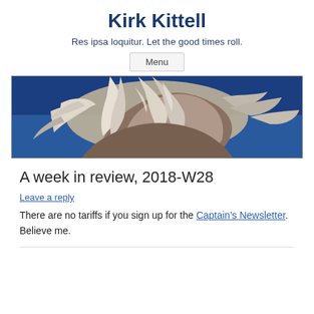Kirk Kittell
Res ipsa loquitur. Let the good times roll.
Menu
[Figure (photo): Photograph of twisted bare white tree branches against a deep blue sky, taken from below looking up.]
A week in review, 2018-W28
Leave a reply
There are no tariffs if you sign up for the Captain's Newsletter. Believe me.